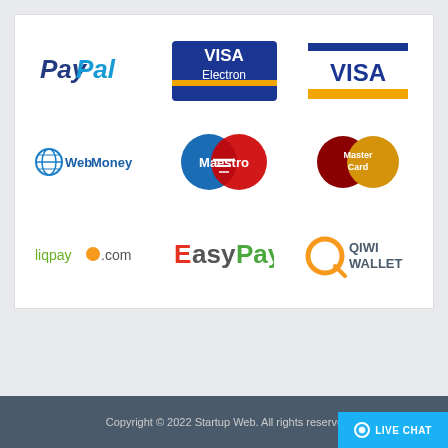[Figure (logo): Payment methods logos grid: PayPal, Visa Electron, Visa, WebMoney, Maestro, MasterCard, liqpay.com, EasyPay, QIWI Wallet]
Copyright © 2022 Startup Web. All rights reserved.